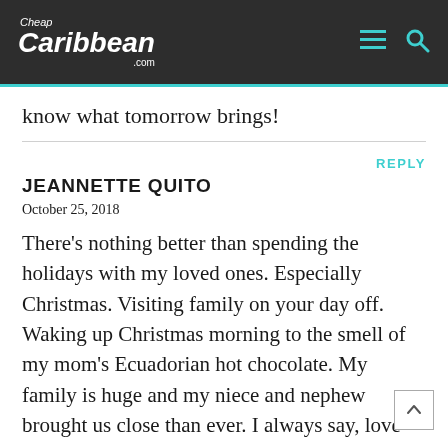Cheap Caribbean .com
know what tomorrow brings!
REPLY
JEANNETTE QUITO
October 25, 2018
There's nothing better than spending the holidays with my loved ones. Especially Christmas. Visiting family on your day off. Waking up Christmas morning to the smell of my mom's Ecuadorian hot chocolate. My family is huge and my niece and nephew brought us close than ever. I always say, love them and enjoy your love